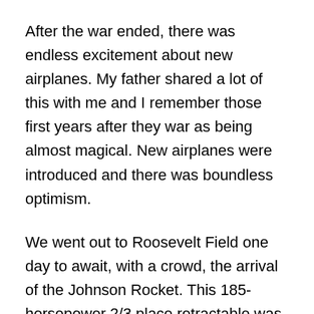After the war ended, there was endless excitement about new airplanes. My father shared a lot of this with me and I remember those first years after they war as being almost magical. New airplanes were introduced and there was boundless optimism.
We went out to Roosevelt Field one day to await, with a crowd, the arrival of the Johnson Rocket. This 185-horsepower 2/3 place retractable was from Texas and, as was common then, had a high reputed cruising speed of 180 mph. Allegedly, it was to arrive